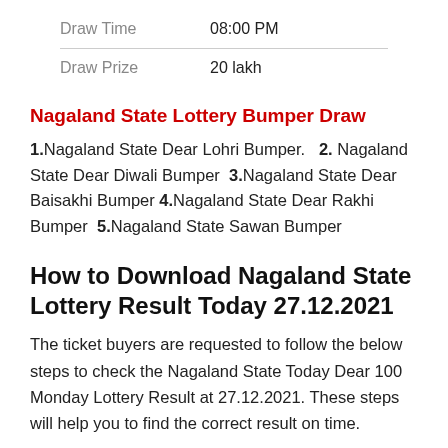| Draw Time | 08:00 PM |
| Draw Prize | 20 lakh |
Nagaland State Lottery Bumper Draw
1.Nagaland State Dear Lohri Bumper.   2. Nagaland State Dear Diwali Bumper  3.Nagaland State Dear Baisakhi Bumper 4.Nagaland State Dear Rakhi Bumper  5.Nagaland State Sawan Bumper
How to Download Nagaland State Lottery Result Today 27.12.2021
The ticket buyers are requested to follow the below steps to check the Nagaland State Today Dear 100 Monday Lottery Result at 27.12.2021. These steps will help you to find the correct result on time.